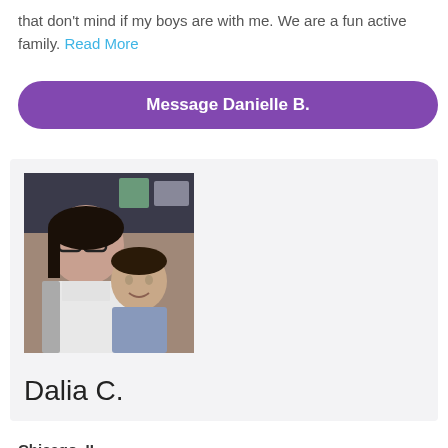that don't mind if my boys are with me. We are a fun active family. Read More
[Figure (other): Purple rounded button with white bold text 'Message Danielle B.']
[Figure (photo): Photo of a young woman with glasses and a small boy, selfie style]
Dalia C.
Chicago, IL